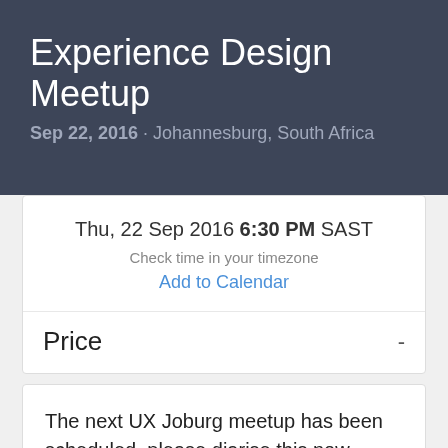Experience Design Meetup
Sep 22, 2016 · Johannesburg, South Africa
Thu, 22 Sep 2016 6:30 PM SAST
Check time in your timezone
Add to Calendar
Price
-
The next UX Joburg meetup has been scheduled, please diarise this now (Thursday, 22nd September). We're changing the timings to a weekday (we used to hold them on a Saturday). We'll give this a try and see what attendees think.